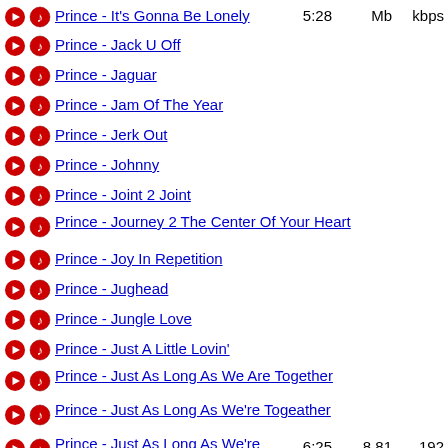Prince - It's Gonna Be Lonely | 5:28 | Mb | kbps
Prince - Jack U Off
Prince - Jaguar
Prince - Jam Of The Year
Prince - Jerk Out
Prince - Johnny
Prince - Joint 2 Joint
Prince - Journey 2 The Center Of Your Heart
Prince - Joy In Repetition
Prince - Jughead
Prince - Jungle Love
Prince - Just A Little Lovin'
Prince - Just As Long As We Are Together
Prince - Just As Long As We're Togeather
Prince - Just As Long As We're Together | 6:25 | 8.81 Mb | 192 kbps
Prince - Just Friends If You Want Me To Stay | 4:27 | 6.11 Mb | 192 kbps
Prince - Kain't Turn Back
Prince - Kiss | 3:38 | 8.30 | 320